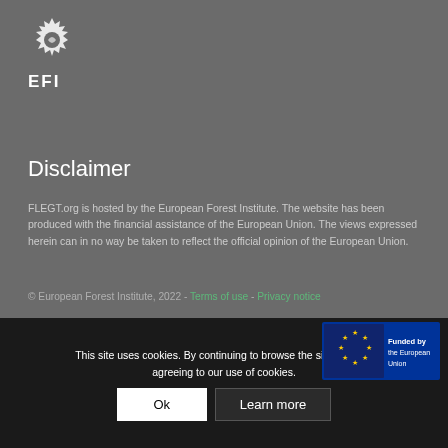[Figure (logo): EFI logo — stylized leaf/oak mark above the letters EFI in white]
Disclaimer
FLEGT.org is hosted by the European Forest Institute. The website has been produced with the financial assistance of the European Union. The views expressed herein can in no way be taken to reflect the official opinion of the European Union.
© European Forest Institute, 2022 - Terms of use - Privacy notice
This site uses cookies. By continuing to browse the site, you are agreeing to our use of cookies.
[Figure (logo): EU flag badge with text 'Funded by the European Union']